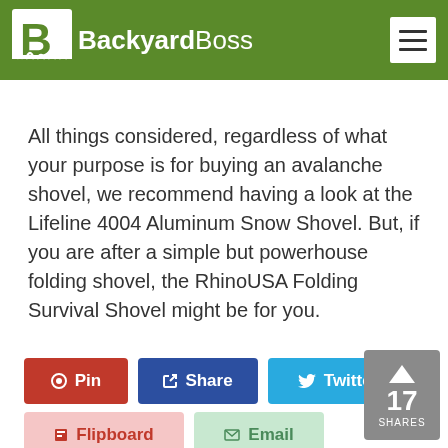BackyardBoss
All things considered, regardless of what your purpose is for buying an avalanche shovel, we recommend having a look at the Lifeline 4004 Aluminum Snow Shovel. But, if you are after a simple but powerhouse folding shovel, the RhinoUSA Folding Survival Shovel might be for you.
[Figure (screenshot): Social share buttons: Pin (red), Share (blue), Twitter (cyan), Flipboard (light red), Email (light green). Share count badge showing 17 SHARES.]